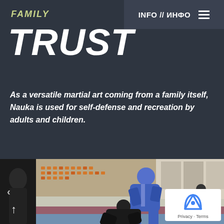INFO // ИНФО ≡
FAMILY
TRUST
As a versatile martial art coming from a family itself, Nauka is used for self-defense and recreation by adults and children.
[Figure (photo): Two martial artists in a judo/sambo match on a mat; one in blue gi standing and leaning over the other in black who is on the ground. Sports arena with orange bleacher seats visible in background.]